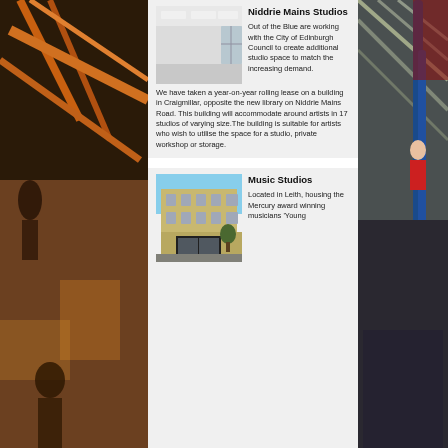[Figure (photo): Left side: vertical strip photo showing interior of a venue with exposed red/orange structural beams and ceiling, people visible]
[Figure (photo): Top center: photo of an empty white interior studio space with columns and large windows]
Niddrie Mains Studios
Out of the Blue are working with the City of Edinburgh Council to create additional studio space to match the increasing demand.We have taken a year-on-year rolling lease on a building in Craigmillar, opposite the new library on Niddrie Mains Road. This building will accommodate around artists in 17 studios of varying size.The building is suitable for artists who wish to utilise the space for a studio, private workshop or storage.
[Figure (photo): Right side: vertical strip photo showing interior of a venue with blue aerial silks/ropes and people]
[Figure (photo): Bottom center: photo of a stone tenement building on a street corner in Leith]
Music Studios
Located in Leith, housing the Mercury award winning musicians 'Young